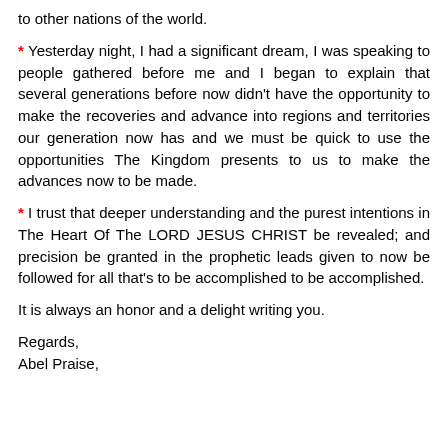to other nations of the world.
* Yesterday night, I had a significant dream, I was speaking to people gathered before me and I began to explain that several generations before now didn't have the opportunity to make the recoveries and advance into regions and territories our generation now has and we must be quick to use the opportunities The Kingdom presents to us to make the advances now to be made.
* I trust that deeper understanding and the purest intentions in The Heart Of The LORD JESUS CHRIST be revealed; and precision be granted in the prophetic leads given to now be followed for all that's to be accomplished to be accomplished.
It is always an honor and a delight writing you.
Regards,
Abel Praise,